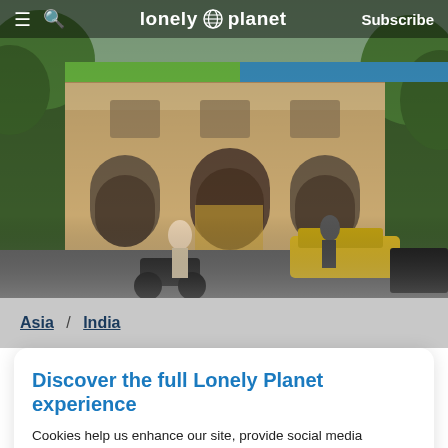lonely planet  Subscribe
[Figure (photo): Street scene in front of a historic colonial-style building in India, with arched windows, ornate facade, trees, motorcycles, and a yellow taxi cab visible]
Asia / India
Discover the full Lonely Planet experience
Cookies help us enhance our site, provide social media features, allow us to analyze our traffic, and deliver personalized travel content guaranteed to inspire you to grab your passport.  Find out more